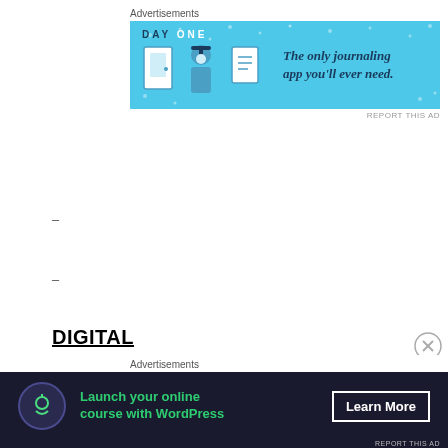Advertisements
[Figure (screenshot): Day One journaling app advertisement banner with blue background. Text: 'DAY ONE - The only journaling app you'll ever need.' with icons.]
REPORT THIS AD
-
-
DIGITAL
The third season of DC's Legends of Tomorrow is also currently available to own on Digital. Digital allows consumers to instantly stream and download all episodes to watch anywhere and anytime on their
Advertisements
[Figure (screenshot): WordPress online course advertisement banner with dark background. Text: 'Launch your online course with WordPress' with 'Learn More' button.]
REPORT THIS AD